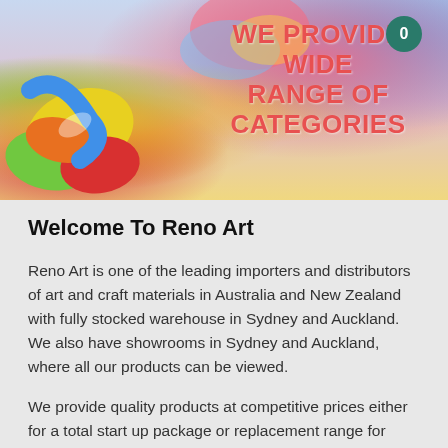[Figure (photo): Colorful banner with paint/art supplies on left, text 'WE PROVIDE WIDE RANGE OF CATEGORIES' in salmon/red on right, cart badge with 0 in top right corner]
Welcome To Reno Art
Reno Art is one of the leading importers and distributors of art and craft materials in Australia and New Zealand with fully stocked warehouse in Sydney and Auckland. We also have showrooms in Sydney and Auckland, where all our products can be viewed.
We provide quality products at competitive prices either for a total start up package or replacement range for your retail store. Reno Art also has highly experienced and professional quality control team overseas to ensure our products is under strict quality controls and comply with Australian standards. We also have ongoing research and development team to ensure we have new products arriving to warehouse every month. You can either order